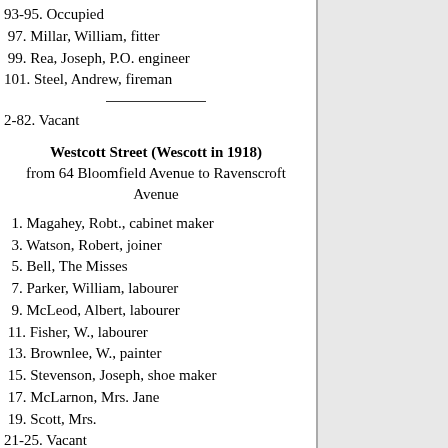93-95. Occupied
97. Millar, William, fitter
99. Rea, Joseph, P.O. engineer
101. Steel, Andrew, fireman
2-82. Vacant
Westcott Street (Wescott in 1918)
from 64 Bloomfield Avenue to Ravenscroft Avenue
1. Magahey, Robt., cabinet maker
3. Watson, Robert, joiner
5. Bell, The Misses
7. Parker, William, labourer
9. McLeod, Albert, labourer
11. Fisher, W., labourer
13. Brownlee, W., painter
15. Stevenson, Joseph, shoe maker
17. McLarnon, Mrs. Jane
19. Scott, Mrs.
21-25. Vacant
2. McAlpine, Emma, chandler